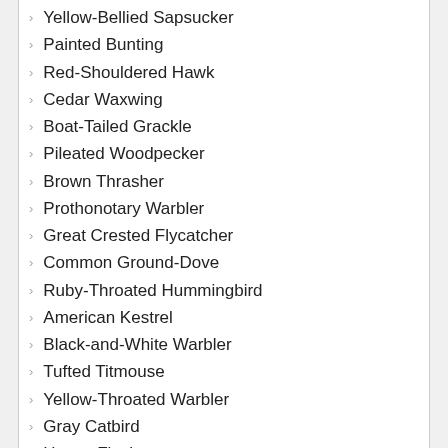Yellow-Bellied Sapsucker
Painted Bunting
Red-Shouldered Hawk
Cedar Waxwing
Boat-Tailed Grackle
Pileated Woodpecker
Brown Thrasher
Prothonotary Warbler
Great Crested Flycatcher
Common Ground-Dove
Ruby-Throated Hummingbird
American Kestrel
Black-and-White Warbler
Tufted Titmouse
Yellow-Throated Warbler
Gray Catbird
House Finch
Prairie Warbler
Pine Warbler